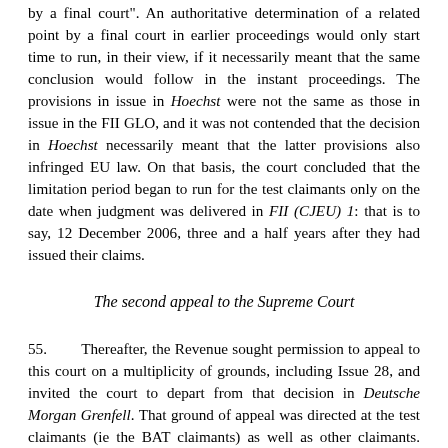by a final court". An authoritative determination of a related point by a final court in earlier proceedings would only start time to run, in their view, if it necessarily meant that the same conclusion would follow in the instant proceedings. The provisions in issue in Hoechst were not the same as those in issue in the FII GLO, and it was not contended that the decision in Hoechst necessarily meant that the latter provisions also infringed EU law. On that basis, the court concluded that the limitation period began to run for the test claimants only on the date when judgment was delivered in FII (CJEU) 1: that is to say, 12 December 2006, three and a half years after they had issued their claims.
The second appeal to the Supreme Court
55.      Thereafter, the Revenue sought permission to appeal to this court on a multiplicity of grounds, including Issue 28, and invited the court to depart from that decision in Deutsche Morgan Grenfell. That ground of appeal was directed at the test claimants (ie the BAT claimants) as well as other claimants. Further submissions were filed following this